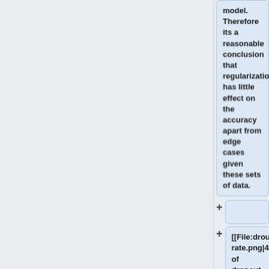model. Therefore its a reasonable conclusion that regularization has little effect on the accuracy apart from edge cases given these sets of data.
[[File:droupout rate.png|400px|thumb|center|Effect of dropout rate
(Zhang, Y. Wallace, B. 2016)]]